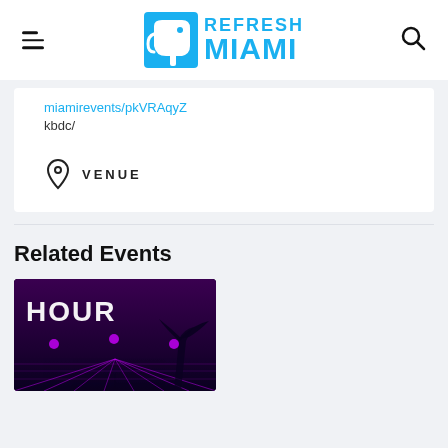Refresh Miami
miamirevents/pkvRAqyZ
kbdc/
VENUE
Related Events
[Figure (photo): Event promotional image showing 'HOUR' text with purple neon laser lights and palm tree silhouette on dark background]